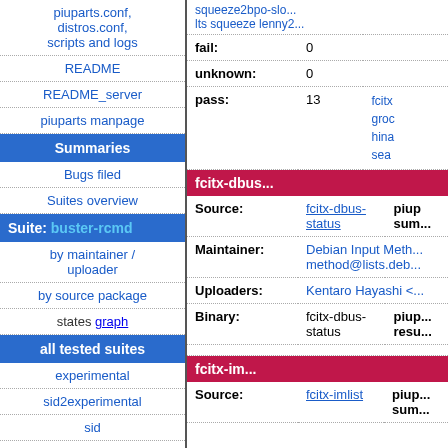piuparts.conf, distros.conf, scripts and logs
README
README_server
piuparts manpage
Summaries
Bugs filed
Suites overview
Suite: buster-rcmd
by maintainer / uploader
by source package
states graph
all tested suites
experimental
sid2experimental
sid
sid-strict
|  |  | squeeze2bpo-slo... lts squeeze lenny2... |
| --- | --- | --- |
| fail: | 0 |  |
| unknown: | 0 |  |
| pass: | 13 | fcitx... groc... hina... sea... |
fcitx-dbus...
| Source: | fcitx-dbus-status | piup... sum... |
| --- | --- | --- |
| Maintainer: | Debian Input Meth... method@lists.deb... |  |
| Uploaders: | Kentaro Hayashi <... |  |
| Binary: | fcitx-dbus-status | piup... resu... |
fcitx-im...
| Source: | fcitx-imlist | piup... sum... |
| --- | --- | --- |